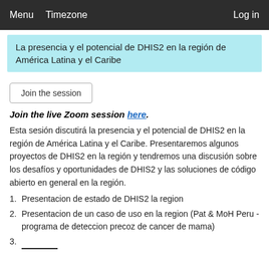Menu  Timezone  Log in
La presencia y el potencial de DHIS2 en la región de América Latina y el Caribe
Join the session
Join the live Zoom session here.
Esta sesión discutirá la presencia y el potencial de DHIS2 en la región de América Latina y el Caribe. Presentaremos algunos proyectos de DHIS2 en la región y tendremos una discusión sobre los desafíos y oportunidades de DHIS2 y las soluciones de código abierto en general en la región.
1. Presentacion de estado de DHIS2 la region
2. Presentacion de un caso de uso en la region (Pat & MoH Peru - programa de deteccion precoz de cancer de mama)
3. ...